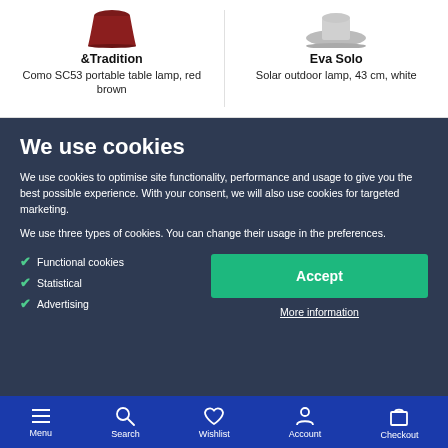&Tradition
Como SC53 portable table lamp, red brown
Eva Solo
Solar outdoor lamp, 43 cm, white
We use cookies
We use cookies to optimise site functionality, performance and usage to give you the best possible experience. With your consent, we will also use cookies for targeted marketing.
We use three types of cookies. You can change their usage in the preferences.
Functional cookies
Statistical
Advertising
Accept
More information
Menu  Search  Wishlist  Account  Checkout